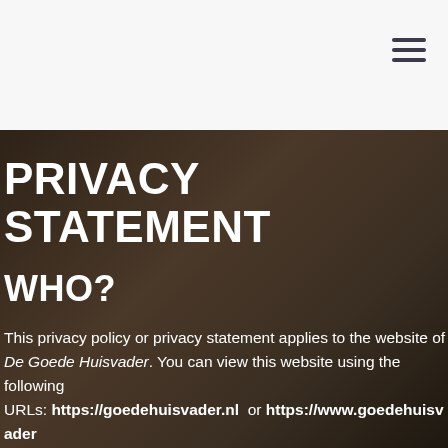≡
PRIVACY STATEMENT
WHO?
This privacy policy or privacy statement applies to the website of De Goede Huisvader. You can view this website using the following URLs: https://goedehuisvader.nl or https://www.goedehuisvader.nl